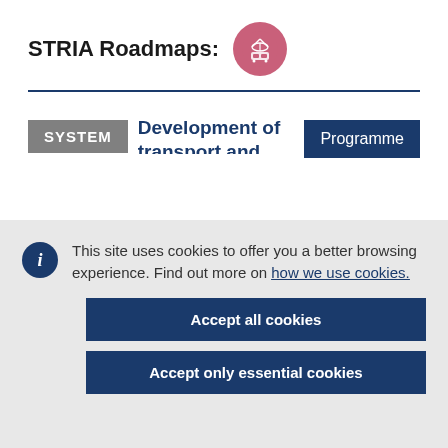STRIA Roadmaps:
[Figure (logo): Circular pink/rose logo with white transport icons (satellite, train)]
Development of transport and communication
This site uses cookies to offer you a better browsing experience. Find out more on how we use cookies.
Accept all cookies
Accept only essential cookies